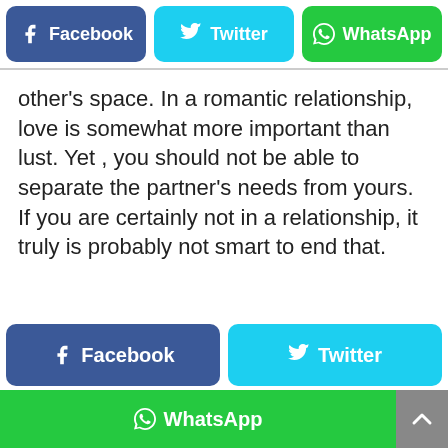[Figure (screenshot): Social share buttons row: Facebook (blue-purple), Twitter (cyan), WhatsApp (green)]
other's space. In a romantic relationship, love is somewhat more important than lust. Yet , you should not be able to separate the partner's needs from yours. If you are certainly not in a relationship, it truly is probably not smart to end that.
[Figure (screenshot): Bottom social share buttons: Facebook (blue-purple) and Twitter (cyan) side by side, WhatsApp (green) full width below, with scroll-to-top button]